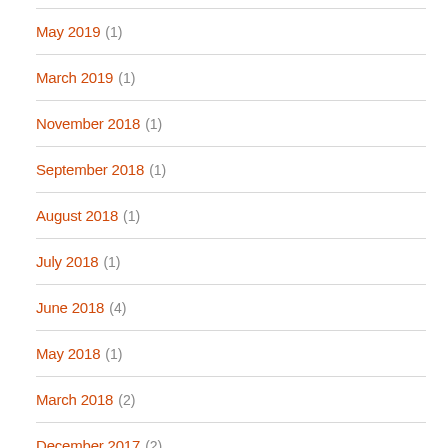May 2019 (1)
March 2019 (1)
November 2018 (1)
September 2018 (1)
August 2018 (1)
July 2018 (1)
June 2018 (4)
May 2018 (1)
March 2018 (2)
December 2017 (2)